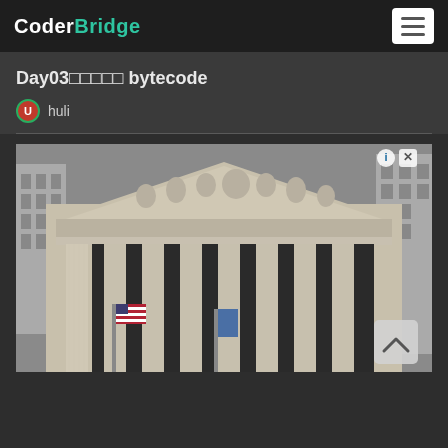CoderBridge
Day03 bytecode
huli
[Figure (photo): Photograph of a neoclassical building facade with tall columns, pediment with sculptural reliefs, and American and other flags in front. Likely the New York Stock Exchange.]